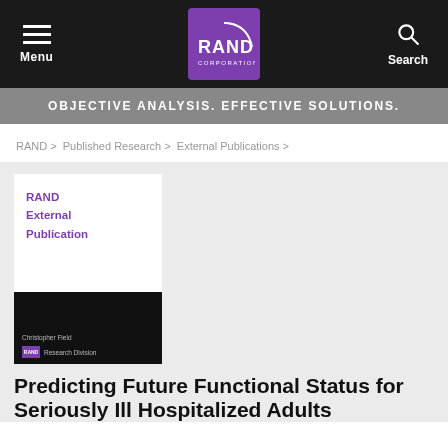Menu | RAND Corporation | Search
OBJECTIVE ANALYSIS. EFFECTIVE SOLUTIONS.
RAND > Published Research > External Publications >
[Figure (illustration): RAND External Publication book cover with white top half showing 'RAND External Publication' in purple text, and black bottom half showing 'Christopher Field' and 'Research Division' with RAND logo.]
Predicting Future Functional Status for Seriously Ill Hospitalized Adults